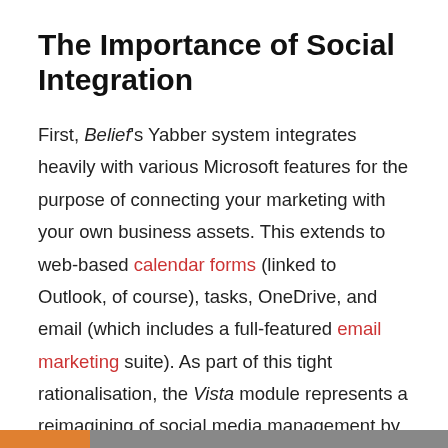The Importance of Social Integration
First, Belief's Yabber system integrates heavily with various Microsoft features for the purpose of connecting your marketing with your own business assets. This extends to web-based calendar forms (linked to Outlook, of course), tasks, OneDrive, and email (which includes a full-featured email marketing suite). As part of this tight rationalisation, the Vista module represents a reimagining of social media management by integrating with your existing IT calendar systems. Simply put, it's